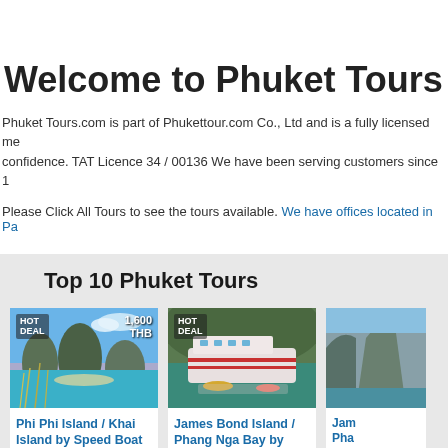Welcome to Phuket Tours
Phuket Tours.com is part of Phukettour.com Co., Ltd and is a fully licensed me confidence. TAT Licence 34 / 00136 We have been serving customers since 1
Please Click All Tours to see the tours available. We have offices located in Pa
Top 10 Phuket Tours
[Figure (photo): Phi Phi Island scenic photo with tropical limestone islands and grass, tagged HOT DEAL 1,600 THB]
Phi Phi Island / Khai Island by Speed Boat
[Figure (photo): James Bond Island / Phang Nga Bay scenic photo with a large pink and white ferry boat, tagged HOT DEAL]
James Bond Island / Phang Nga Bay by
[Figure (photo): Third tour card showing limestone cliffs, partially visible]
Jam Pha